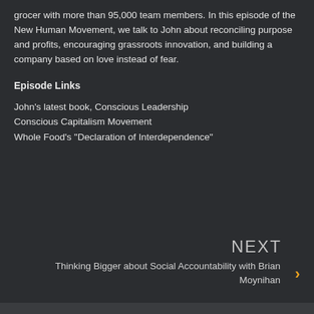grocer with more than 95,000 team members. In this episode of the New Human Movement, we talk to John about reconciling purpose and profits, encouraging grassroots innovation, and building a company based on love instead of fear.
Episode Links
John's latest book, Conscious Leadership
Conscious Capitalism Movement
Whole Food's "Declaration of Interdependence"
NEXT
Thinking Bigger about Social Accountability with Brian Moynihan